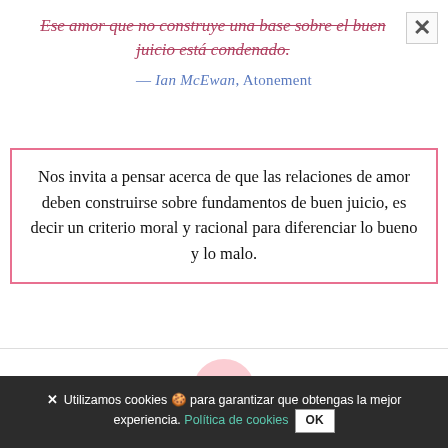Ese amor que no construye una base sobre el buen juicio está condenado.
— Ian McEwan, Atonement
Nos invita a pensar acerca de que las relaciones de amor deben construirse sobre fundamentos de buen juicio, es decir un criterio moral y racional para diferenciar lo bueno y lo malo.
89
X  Utilizamos cookies 🍪 para garantizar que obtengas la mejor experiencia. Política de cookies  OK